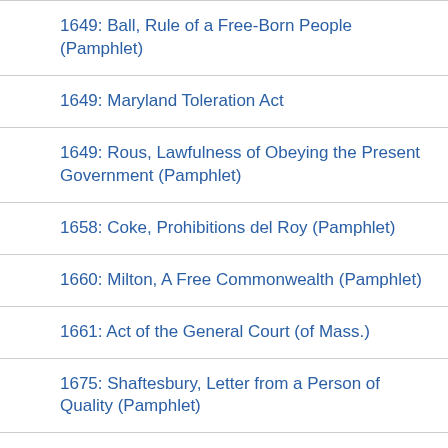1649: Ball, Rule of a Free-Born People (Pamphlet)
1649: Maryland Toleration Act
1649: Rous, Lawfulness of Obeying the Present Government (Pamphlet)
1658: Coke, Prohibitions del Roy (Pamphlet)
1660: Milton, A Free Commonwealth (Pamphlet)
1661: Act of the General Court (of Mass.)
1675: Shaftesbury, Letter from a Person of Quality (Pamphlet)
1675: Shaftesbury, Speech in Parliament